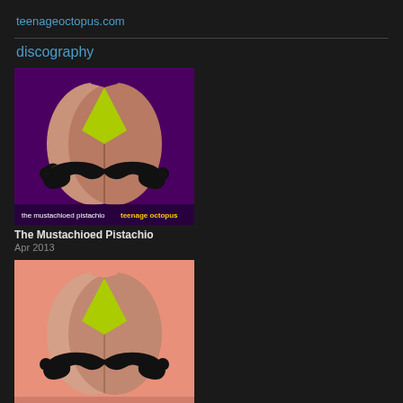teenageoctopus.com
discography
[Figure (illustration): Album cover: The Mustachioed Pistachio - purple background with pistachio nut shape and mustache illustration, text at bottom reading 'the mustachioed pistachio teenage octopus']
The Mustachioed Pistachio
Apr 2013
[Figure (illustration): Album cover: A Taste Of My Own Medicine EP - pink/salmon background with pistachio nut shape and mustache illustration, text at bottom reading 'a taste of my own medicine ep teenage octopus']
A Taste Of My Own Medicine EP
Jan 2013
[Figure (illustration): Album cover: white background with text 'Teenage Octopus' and a blurred/grayscale figure with an X mark]